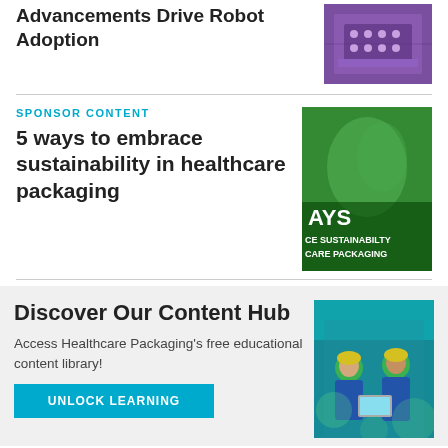Advancements Drive Robot Adoption
[Figure (photo): Close-up photo of purple robotic/mechanical components]
SPONSOR CONTENT
5 ways to embrace sustainability in healthcare packaging
[Figure (photo): Green sustainability themed image with text overlaid: AYS, CE SUSTAINABILTY, CARE PACKAGING]
Discover Our Content Hub
Access Healthcare Packaging's free educational content library!
[Figure (photo): Workers in hard hats with teal/blue tint overlay]
UNLOCK LEARNING